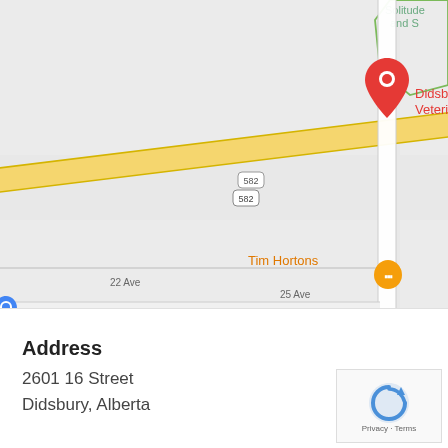[Figure (map): Google Maps screenshot showing Didsbury Veterinary Services location at the intersection of Highway 582 and a north-south road. Nearby landmarks include Tim Hortons and West-Can Seal Coating. Streets labeled include 25 Ave and 22 Ave. A green-outlined area is visible to the upper right.]
Address
2601 16 Street
Didsbury, Alberta